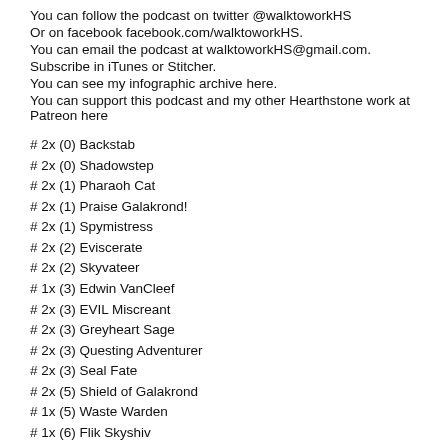You can follow the podcast on twitter @walktoworkHS
Or on facebook facebook.com/walktoworkHS.
You can email the podcast at walktoworkHS@gmail.com.
Subscribe in iTunes or Stitcher.
You can see my infographic archive here.
You can support this podcast and my other Hearthstone work at Patreon here
# 2x (0) Backstab
# 2x (0) Shadowstep
# 2x (1) Pharaoh Cat
# 2x (1) Praise Galakrond!
# 2x (1) Spymistress
# 2x (2) Eviscerate
# 2x (2) Skyvateer
# 1x (3) Edwin VanCleef
# 2x (3) EVIL Miscreant
# 2x (3) Greyheart Sage
# 2x (3) Questing Adventurer
# 2x (3) Seal Fate
# 2x (5) Shield of Galakrond
# 1x (5) Waste Warden
# 1x (6) Flik Skyshiv
# 1x (6) Heistbaron Togwaggle
# 1x (6) Kronx Dragonhoof
# 1x (7) Galakrond, the Nightmare